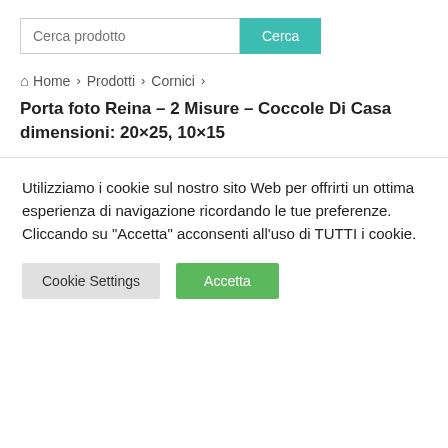[Figure (screenshot): Search bar with text input 'Cerca prodotto' and teal 'Cerca' button]
Home > Prodotti > Cornici >
Porta foto Reina – 2 Misure – Coccole Di Casa dimensioni: 20×25, 10×15
Utilizziamo i cookie sul nostro sito Web per offrirti un ottima esperienza di navigazione ricordando le tue preferenze. Cliccando su "Accetta" acconsenti all'uso di TUTTI i cookie.
Cookie Settings | Accetta